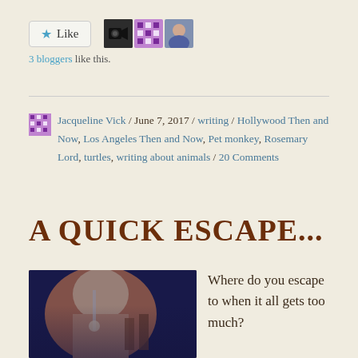[Figure (screenshot): Like button with star icon and three blogger avatars (movie camera icon, purple grid pattern, person photo)]
3 bloggers like this.
Jacqueline Vick / June 7, 2017 / writing / Hollywood Then and Now, Los Angeles Then and Now, Pet monkey, Rosemary Lord, turtles, writing about animals / 20 Comments
A QUICK ESCAPE...
[Figure (photo): A person with light hair wearing a necklace, photographed from behind/side]
Where do you escape to when it all gets too much?